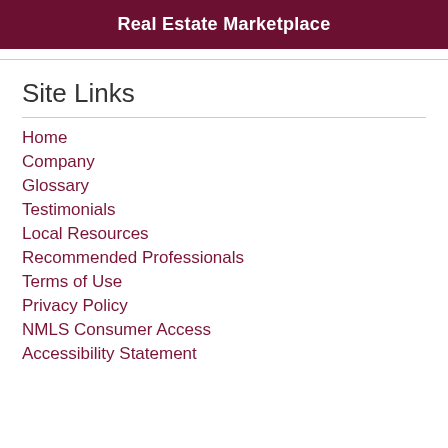Real Estate Marketplace
Site Links
Home
Company
Glossary
Testimonials
Local Resources
Recommended Professionals
Terms of Use
Privacy Policy
NMLS Consumer Access
Accessibility Statement